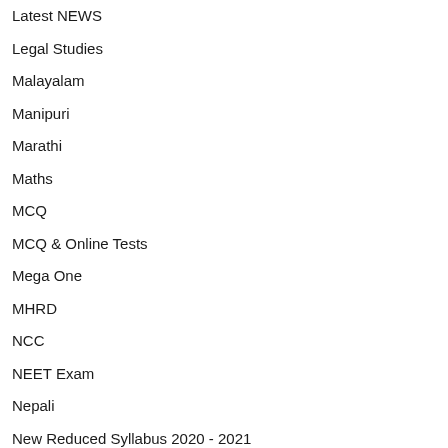Latest NEWS
Legal Studies
Malayalam
Manipuri
Marathi
Maths
MCQ
MCQ & Online Tests
Mega One
MHRD
NCC
NEET Exam
Nepali
New Reduced Syllabus 2020 - 2021
New Revised Syllabus 2020 - 2021
New Syllabus 2020 - 2021
Odia